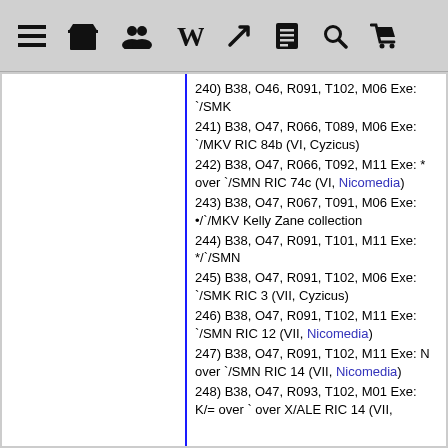Toolbar with navigation icons
240) B38, O46, R091, T102, M06 Exe: `/SMK
241) B38, O47, R066, T089, M06 Exe: `/MKV RIC 84b (VI, Cyzicus)
242) B38, O47, R066, T092, M11 Exe: * over `/SMN RIC 74c (VI, Nicomedia)
243) B38, O47, R067, T091, M06 Exe: •/`/MKV Kelly Zane collection
244) B38, O47, R091, T101, M11 Exe: */`/SMN
245) B38, O47, R091, T102, M06 Exe: `/SMK RIC 3 (VII, Cyzicus)
246) B38, O47, R091, T102, M11 Exe: `/SMN RIC 12 (VII, Nicomedia)
247) B38, O47, R091, T102, M11 Exe: N over `/SMN RIC 14 (VII, Nicomedia)
248) B38, O47, R093, T102, M01 Exe: K/= over ` over X/ALE RIC 14 (VII,